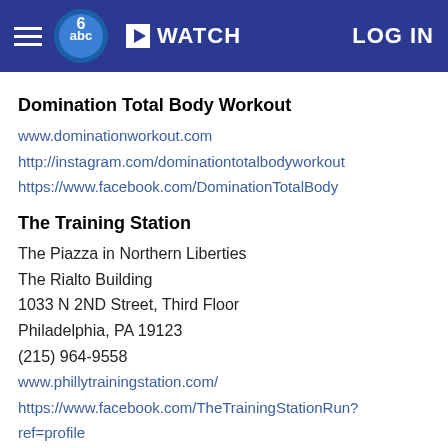WATCH | LOG IN
Domination Total Body Workout
www.dominationworkout.com
http://instagram.com/dominationtotalbodyworkout
https://www.facebook.com/DominationTotalBody
The Training Station
The Piazza in Northern Liberties
The Rialto Building
1033 N 2ND Street, Third Floor
Philadelphia, PA 19123
(215) 964-9558
www.phillytrainingstation.com/
https://www.facebook.com/TheTrainingStationRun?ref=profile